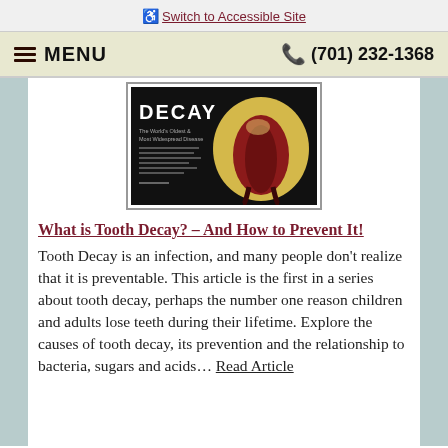♿ Switch to Accessible Site
☰ MENU   📞 (701) 232-1368
[Figure (photo): Cross-section illustration of a tooth showing decay, with the word DECAY prominently displayed on a dark background]
What is Tooth Decay? – And How to Prevent It!
Tooth Decay is an infection, and many people don't realize that it is preventable. This article is the first in a series about tooth decay, perhaps the number one reason children and adults lose teeth during their lifetime. Explore the causes of tooth decay, its prevention and the relationship to bacteria, sugars and acids... Read Article